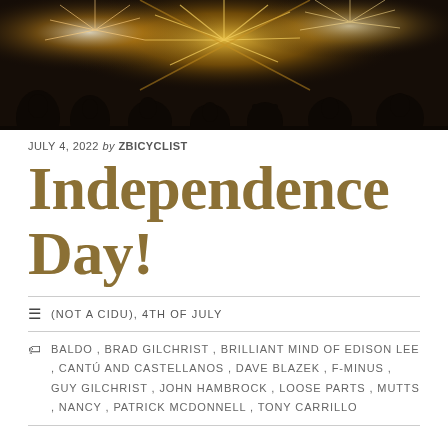[Figure (photo): Silhouettes of people watching fireworks against a dark sky with colorful firework explosions in the background]
JULY 4, 2022 by ZBICYCLIST
Independence Day!
≡ (NOT A CIDU), 4TH OF JULY
🏷 BALDO, BRAD GILCHRIST, BRILLIANT MIND OF EDISON LEE, CANTÚ AND CASTELLANOS, DAVE BLAZEK, F-MINUS, GUY GILCHRIST, JOHN HAMBROCK, LOOSE PARTS, MUTTS, NANCY, PATRICK MCDONNELL, TONY CARRILLO